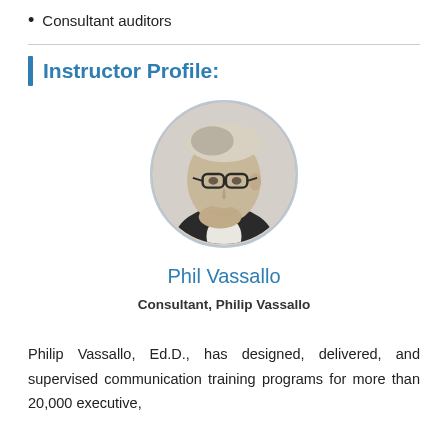Consultant auditors
Instructor Profile:
[Figure (photo): Black and white circular portrait photo of Phil Vassallo, an older man with glasses, looking thoughtfully to the side with his hand near his chin.]
Phil Vassallo
Consultant, Philip Vassallo
Philip Vassallo, Ed.D., has designed, delivered, and supervised communication training programs for more than 20,000 executive,